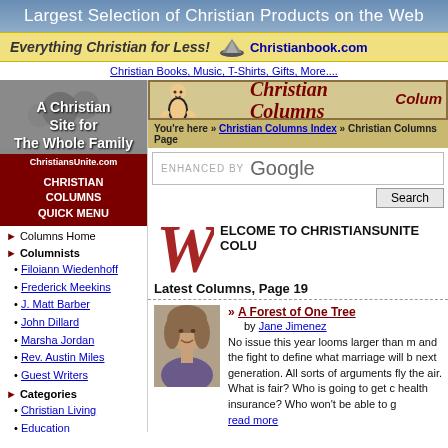Largest Selection of Christian Products on the Web
[Figure (logo): Christianbook.com banner: Everything Christian for Less!]
Christian Books, Music, T-Shirts, Gifts, More....
[Figure (screenshot): ChristiansUnite Christian Columns header banner with cartoon figure]
You're here » Christian Columns Index » Christian Columns Page
ENHANCED BY Google
Search
[Figure (logo): A Christian Site for The Whole Family - ChristiansUnite.com logo]
CHRISTIAN COLUMNS QUICK MENU
Columns Home
Columnists
Filoiann Wiedenhoff
Frederick Meekins
J. Matt Barber
John Dillard
Marsha Jordan
Rev. Austin Miles
Guest Writers
Categories
Christian Living
Education
Entertainment
Political
Social Issues
Sports
[Figure (illustration): Decorative red W initial cap letter]
ELCOME TO CHRISTIANSUNITE COLU
Latest Columns, Page 19
[Figure (photo): Photo of Jane Jimenez, a woman with shoulder-length hair, smiling]
» A Forest of One Tree
by Jane Jimenez
No issue this year looms larger than m and the fight to define what marriage will b next generation. All sorts of arguments fly the air. What is fair? Who is going to get c health insurance? Who won't be able to g read more